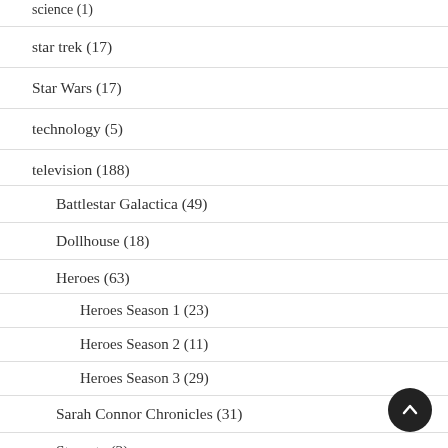science (1)
star trek (17)
Star Wars (17)
technology (5)
television (188)
Battlestar Galactica (49)
Dollhouse (18)
Heroes (63)
Heroes Season 1 (23)
Heroes Season 2 (11)
Heroes Season 3 (29)
Sarah Connor Chronicles (31)
Stargate (2)